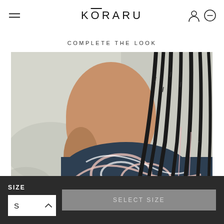KŌRARU
COMPLETE THE LOOK
[Figure (photo): Close-up back view of a woman with long braided hair wearing a dark navy, pink and white swirl-patterned swimsuit top, against a sandy/white rocky background]
SIZE S SELECT SIZE